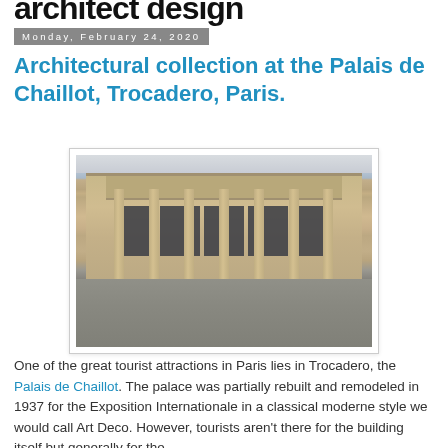architect design
Monday, February 24, 2020
Architectural collection at the Palais de Chaillot, Trocadero, Paris.
[Figure (photo): Exterior photograph of the Palais de Chaillot building in Paris, showing its neoclassical Art Deco facade with large columns and tall windows. A crowd of tourists is visible in the foreground on the plaza.]
One of the great tourist attractions in Paris lies in Trocadero, the Palais de Chaillot. The palace was partially rebuilt and remodeled in 1937 for the Exposition Internationale in a classical moderne style we would call Art Deco. However, tourists aren't there for the building itself but generally for the